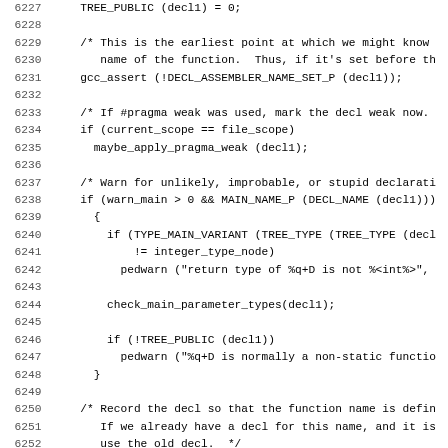Source code listing, lines 6227-6258, C programming language